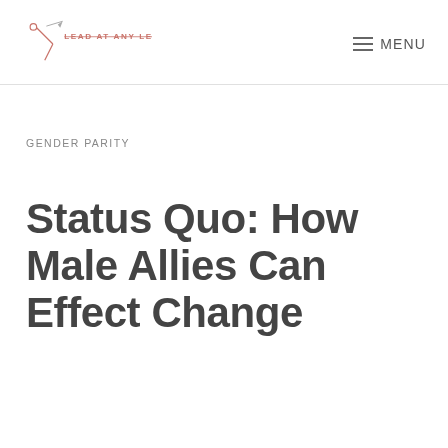LEAD AT ANY LEVEL | MENU
GENDER PARITY
Status Quo: How Male Allies Can Effect Change